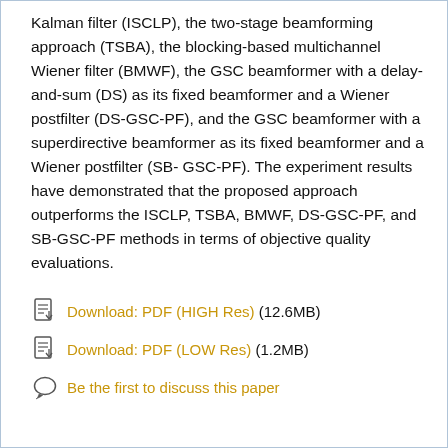Kalman filter (ISCLP), the two-stage beamforming approach (TSBA), the blocking-based multichannel Wiener filter (BMWF), the GSC beamformer with a delay-and-sum (DS) as its fixed beamformer and a Wiener postfilter (DS-GSC-PF), and the GSC beamformer with a superdirective beamformer as its fixed beamformer and a Wiener postfilter (SB-GSC-PF). The experiment results have demonstrated that the proposed approach outperforms the ISCLP, TSBA, BMWF, DS-GSC-PF, and SB-GSC-PF methods in terms of objective quality evaluations.
Download: PDF (HIGH Res) (12.6MB)
Download: PDF (LOW Res) (1.2MB)
Be the first to discuss this paper